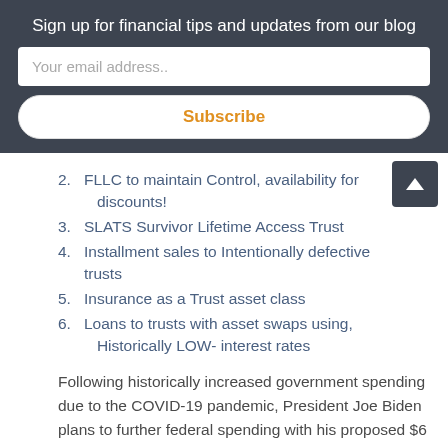Sign up for financial tips and updates from our blog
Your email address..
Subscribe
2. FLLC to maintain Control, availability for discounts!
3. SLATS Survivor Lifetime Access Trust
4. Installment sales to Intentionally defective trusts
5. Insurance as a Trust asset class
6. Loans to trusts with asset swaps using, Historically LOW- interest rates
Following historically increased government spending due to the COVID-19 pandemic, President Joe Biden plans to further federal spending with his proposed $6 trillion budget. The 2022 fiscal year budget, proposed on May 28th, will take US federal spending to its highest sustained levels since World War II with deficits running